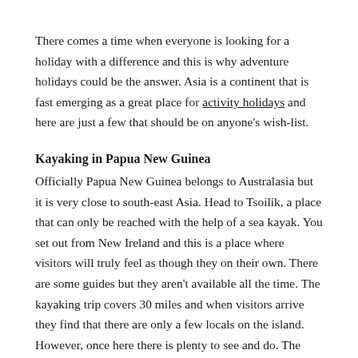There comes a time when everyone is looking for a holiday with a difference and this is why adventure holidays could be the answer. Asia is a continent that is fast emerging as a great place for activity holidays and here are just a few that should be on anyone's wish-list.
Kayaking in Papua New Guinea
Officially Papua New Guinea belongs to Australasia but it is very close to south-east Asia. Head to Tsoilik, a place that can only be reached with the help of a sea kayak. You set out from New Ireland and this is a place where visitors will truly feel as though they on their own. There are some guides but they aren't available all the time. The kayaking trip covers 30 miles and when visitors arrive they find that there are only a few locals on the island. However, once here there is plenty to see and do. The